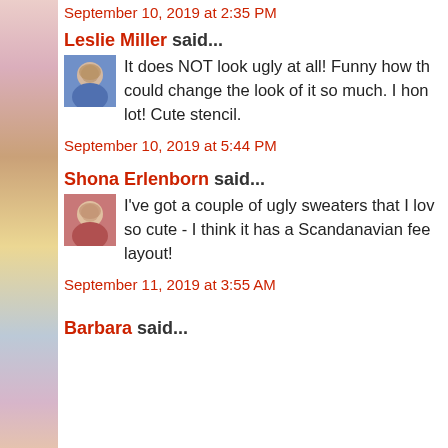September 10, 2019 at 2:35 PM
Leslie Miller said...
It does NOT look ugly at all! Funny how th... could change the look of it so much. I hon... lot! Cute stencil.
September 10, 2019 at 5:44 PM
Shona Erlenborn said...
I've got a couple of ugly sweaters that I lov... so cute - I think it has a Scandanavian fee... layout!
September 11, 2019 at 3:55 AM
Barbara said...